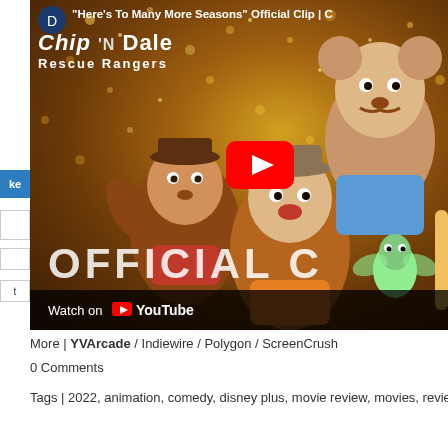[Figure (screenshot): YouTube video thumbnail/embed showing the Chip 'n Dale Rescue Rangers 'Here's To Many More Seasons' Official Clip. The image shows animated characters Chip, Dale, and other Rescue Rangers characters against a gold sparkly bokeh background. A red YouTube play button is centered on the right portion of the image. White bold text reads 'OFFICIAL C' across the bottom. A dark bar at the bottom reads 'Watch on YouTube'. The video title bar at the top shows the clip title and the Chip 'n Dale Rescue Rangers logo. A left sidebar shows social sharing buttons including a blue 'ke' (Like) button.]
More | YVArcade / Indiewire / Polygon / ScreenCrush
0 Comments
Tags | 2022, animation, comedy, disney plus, movie review, movies, review, streaming, tv show